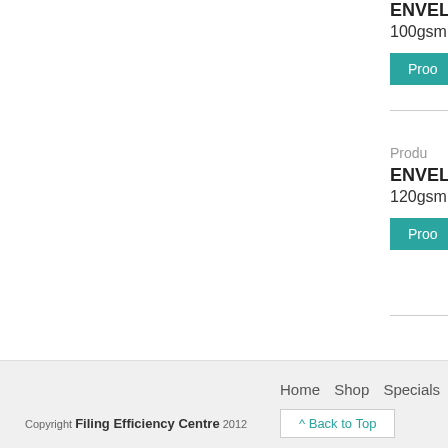100gsm
Prod
Product
ENVEL
120gsm
Proo
Home  Shop  Specials  How To C  Copyright Filing Efficiency Centre 2012  ^ Back to Top